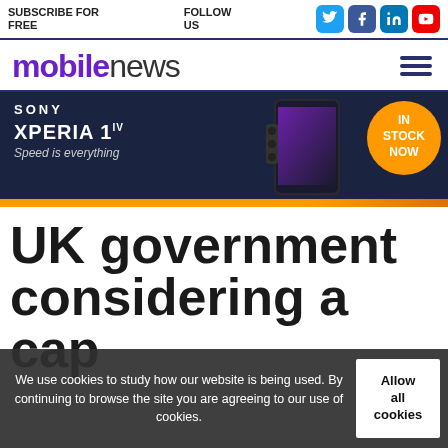SUBSCRIBE FOR FREE   FOLLOW US
[Figure (logo): mobilenews logo with purple 'mobile' and dark 'news' text, hamburger menu icon]
[Figure (photo): Sony Xperia 1 IV advertisement banner with dark blue background, phone image, orange badge saying IN STOCK NOW, and orange bottom bar]
UK government considering a cap on spectru use
We use cookies to study how our website is being used. By continuing to browse the site you are agreeing to our use of cookies.